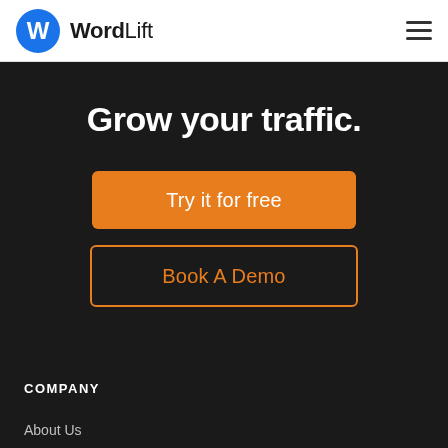WordLift
Grow your traffic.
Try it for free
Book A Demo
COMPANY
About Us